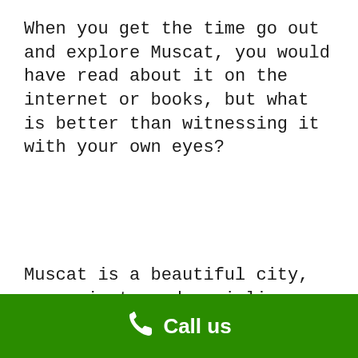When you get the time go out and explore Muscat, you would have read about it on the internet or books, but what is better than witnessing it with your own eyes?
Muscat is a beautiful city, communicate and socialise with people and get comfortable.
Call us